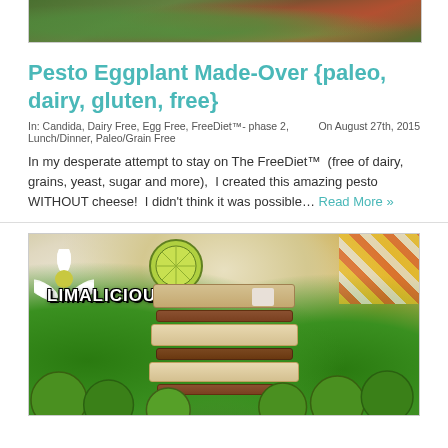[Figure (photo): Top portion of a food photo showing prepared dish with green herbs/vegetables and tomatoes]
Pesto Eggplant Made-Over {paleo, dairy, gluten, free}
In: Candida, Dairy Free, Egg Free, FreeDiet™- phase 2, Lunch/Dinner, Paleo/Grain Free   On August 27th, 2015
In my desperate attempt to stay on The FreeDiet™  (free of dairy, grains, yeast, sugar and more),  I created this amazing pesto WITHOUT cheese!  I didn't think it was possible… Read More »
[Figure (photo): Food photo showing layered lime cheesecake bars with text overlay LIMALICIOUS NUTRITIOUS, surrounded by limes, white flowers, and colorful decorative elements]